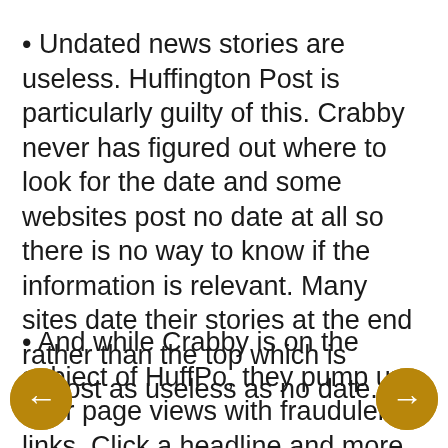Undated news stories are useless. Huffington Post is particularly guilty of this. Crabby never has figured out where to look for the date and some websites post no date at all so there is no way to know if the information is relevant. Many sites date their stories at the end rather than the top which is almost as useless as no date.
And while Crabby is on the subject of HuffPo, they pump up their page views with fraudulent links. Click a headline and more often than not, Crabby is taken to a section front page with a dozen stories and she can't find